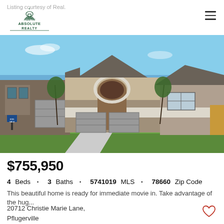Listing courtesy of Real.
[Figure (logo): Austin Absolute Realty logo with capitol building icon]
[Figure (photo): Exterior photo of a single-story stone and brick home with two-car garage, arched entryway, young trees, and blue sky]
$755,950
4 Beds · 3 Baths · 5741019 MLS · 78660 Zip Code
This beautiful home is ready for immediate movie in.  Take advantage of the hug...
20712 Christie Marie Lane,
pflugerville